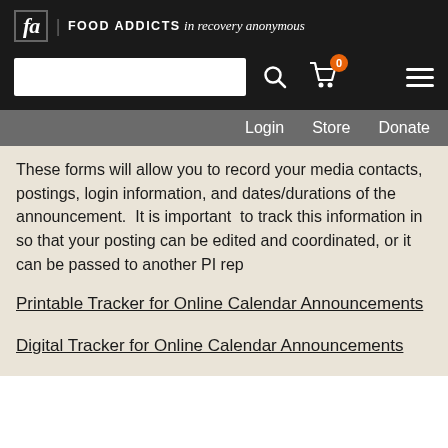fa | FOOD ADDICTS in recovery anonymous
[Figure (screenshot): Website header with FA logo, search bar, cart icon with badge showing 0, and hamburger menu on dark background]
Login  Store  Donate
These forms will allow you to record your media contacts, postings, login information, and dates/durations of the announcement.  It is important  to track this information in so that your posting can be edited and coordinated, or it can be passed to another PI rep
Printable Tracker for Online Calendar Announcements
Digital Tracker for Online Calendar Announcements